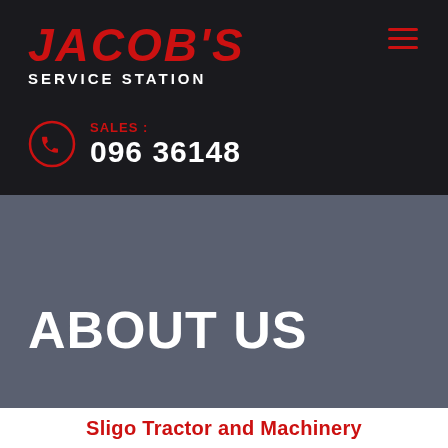JACOB'S SERVICE STATION
SALES : 096 36148
ABOUT US
Sligo Tractor and Machinery